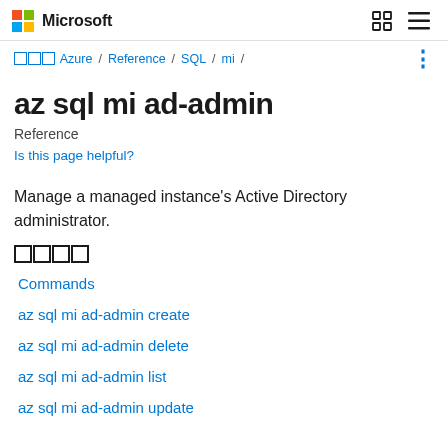Microsoft
□□□ Azure / Reference / SQL / mi /
az sql mi ad-admin
Reference
Is this page helpful?
Manage a managed instance's Active Directory administrator.
□□□□
Commands
az sql mi ad-admin create
az sql mi ad-admin delete
az sql mi ad-admin list
az sql mi ad-admin update